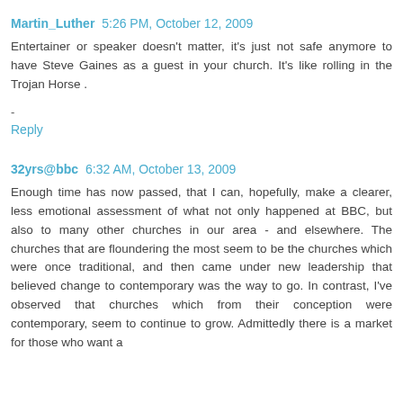Martin_Luther 5:26 PM, October 12, 2009
Entertainer or speaker doesn't matter, it's just not safe anymore to have Steve Gaines as a guest in your church. It's like rolling in the Trojan Horse .
-
Reply
32yrs@bbc 6:32 AM, October 13, 2009
Enough time has now passed, that I can, hopefully, make a clearer, less emotional assessment of what not only happened at BBC, but also to many other churches in our area - and elsewhere. The churches that are floundering the most seem to be the churches which were once traditional, and then came under new leadership that believed change to contemporary was the way to go. In contrast, I've observed that churches which from their conception were contemporary, seem to continue to grow. Admittedly there is a market for those who want a